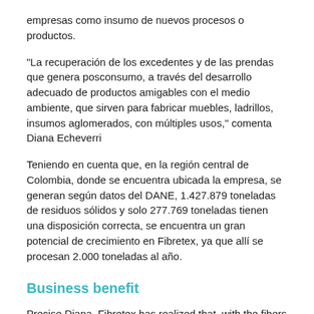empresas como insumo de nuevos procesos o productos.
“La recuperación de los excedentes y de las prendas que genera posconsumo, a través del desarrollo adecuado de productos amigables con el medio ambiente, que sirven para fabricar muebles, ladrillos, insumos aglomerados, con múltiples usos,” comenta Diana Echeverri
Teniendo en cuenta que, en la región central de Colombia, donde se encuentra ubicada la empresa, se generan según datos del DANE, 1.427.879 toneladas de residuos sólidos y solo 277.769 toneladas tienen una disposición correcta, se encuentra un gran potencial de crecimiento en Fibretex, ya que allí se procesan 2.000 toneladas al año.
Business benefit
Precise Diana, Fibretex has realized that, with the fibers obtained from the textile and...